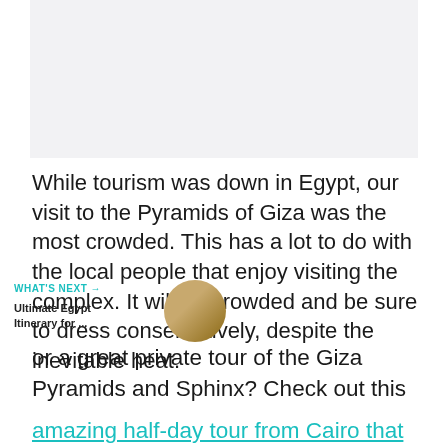[Figure (photo): Blank/light gray image placeholder area at top of page]
While tourism was down in Egypt, our visit to the Pyramids of Giza was the most crowded. This has a lot to do with the local people that enjoy visiting the complex. It will be crowded and be sure to dress conservatively, despite the inevitable heat.
[Figure (illustration): Floating social widget with heart button (teal circle) showing 1.8K likes and a share icon below]
WHAT'S NEXT →
Ultimate Egypt Itinerary for ...
[Figure (photo): Small circular thumbnail of pyramids photo]
or a great private tour of the Giza Pyramids and Sphinx? Check out this amazing half-day tour from Cairo that we